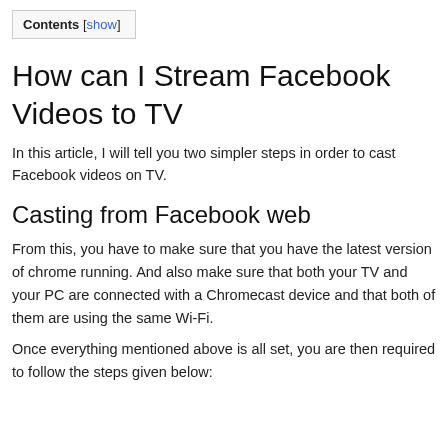Contents [show]
How can I Stream Facebook Videos to TV
In this article, I will tell you two simpler steps in order to cast Facebook videos on TV.
Casting from Facebook web
From this, you have to make sure that you have the latest version of chrome running. And also make sure that both your TV and your PC are connected with a Chromecast device and that both of them are using the same Wi-Fi.
Once everything mentioned above is all set, you are then required to follow the steps given below: